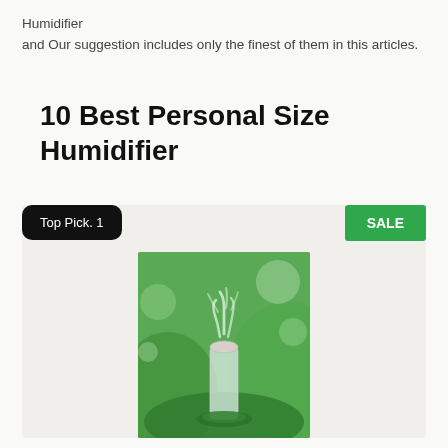Humidifier
and Our suggestion includes only the finest of them in this articles.
10 Best Personal Size Humidifier
Top Pick. 1
SALE
[Figure (photo): A small personal humidifier in a glass bottle shape emitting mist, placed on moss with green foliage background]